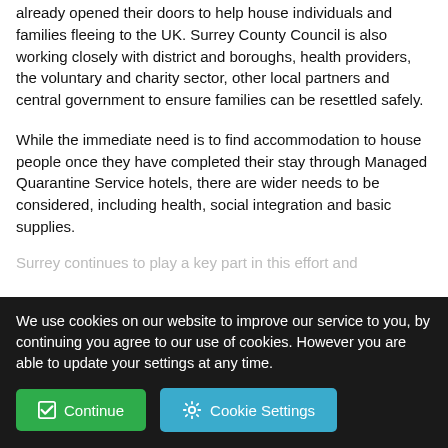already opened their doors to help house individuals and families fleeing to the UK. Surrey County Council is also working closely with district and boroughs, health providers, the voluntary and charity sector, other local partners and central government to ensure families can be resettled safely.
While the immediate need is to find accommodation to house people once they have completed their stay through Managed Quarantine Service hotels, there are wider needs to be considered, including health, social integration and basic supplies.
Surrey continues to play a key part in this effort and...
We use cookies on our website to improve our service to you, by continuing you agree to our use of cookies. However you are able to update your settings at any time.